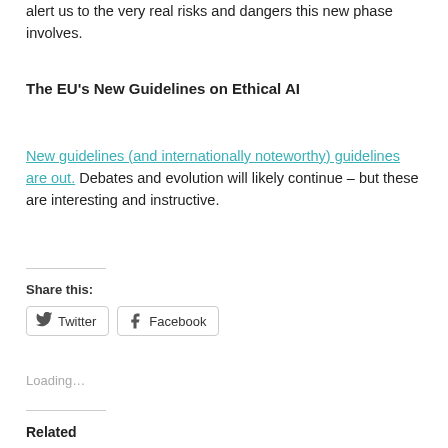alert us to the very real risks and dangers this new phase involves.
The EU's New Guidelines on Ethical AI
New guidelines (and internationally noteworthy) guidelines are out. Debates and evolution will likely continue – but these are interesting and instructive.
Share this:
Twitter  Facebook
Loading…
Related